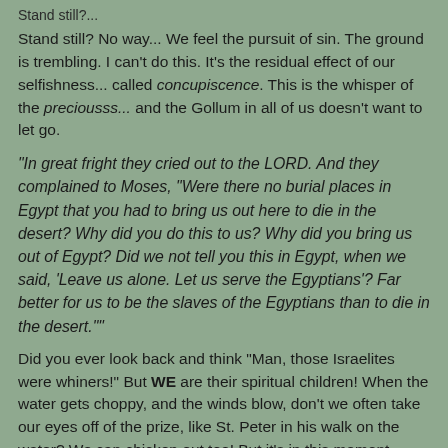Stand still?...
Stand still? No way... We feel the pursuit of sin. The ground is trembling. I can't do this. It's the residual effect of our selfishness... called concupiscence. This is the whisper of the preciousss... and the Gollum in all of us doesn't want to let go.
"In great fright they cried out to the LORD. And they complained to Moses, "Were there no burial places in Egypt that you had to bring us out here to die in the desert? Why did you do this to us? Why did you bring us out of Egypt? Did we not tell you this in Egypt, when we said, 'Leave us alone. Let us serve the Egyptians'? Far better for us to be the slaves of the Egyptians than to die in the desert.""
Did you ever look back and think "Man, those Israelites were whiners!" But WE are their spiritual children! When the water gets choppy, and the winds blow, don't we often take our eyes off of the prize, like St. Peter in his walk on the water? We can chicken out too! But it's in this moment especially, when all the world seems to be falling apart, that we must look to Jesus...